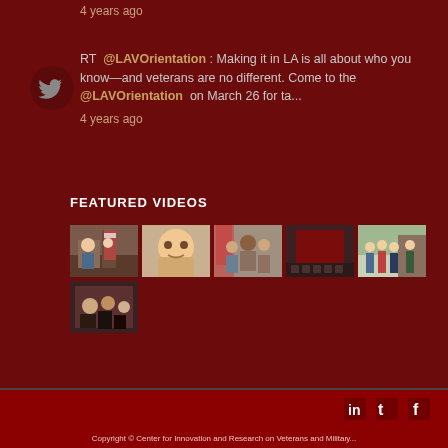4 years ago
RT @LAVOrientation : Making it in LA is all about who you know—and veterans are no different. Come to the @LAVOrientation on March 26 for ta...
4 years ago
FEATURED VIDEOS
[Figure (photo): Six video thumbnails showing military/veteran related images]
Copyright © Center for Innovation and Research on Veterans and Military...